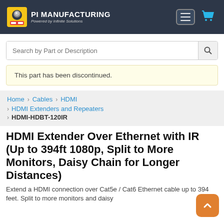PI MANUFACTURING — Powered by Infinite Solutions
Search by Part or Description
This part has been discontinued.
Home > Cables > HDMI > HDMI Extenders and Repeaters > HDMI-HDBT-120IR
HDMI Extender Over Ethernet with IR (Up to 394ft 1080p, Split to More Monitors, Daisy Chain for Longer Distances)
Extend a HDMI connection over Cat5e / Cat6 Ethernet cable up to 394 feet. Split to more monitors and daisy